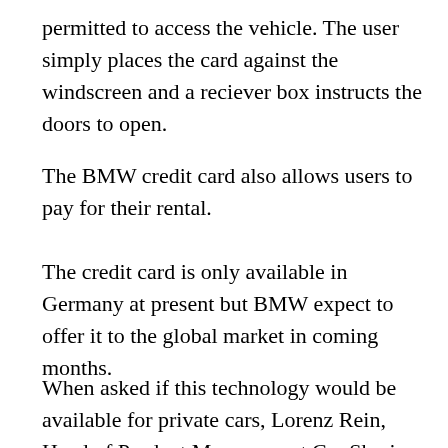permitted to access the vehicle. The user simply places the card against the windscreen and a reciever box instructs the doors to open.
The BMW credit card also allows users to pay for their rental.
The credit card is only available in Germany at present but BMW expect to offer it to the global market in coming months.
When asked if this technology would be available for private cars, Lorenz Rein, Head of Product Management Car Sharing, suggested there would be